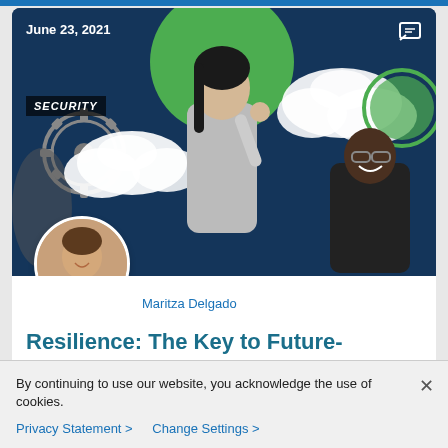[Figure (screenshot): Article card screenshot showing a hero banner with dark blue background, a woman in the center, a man on the right, gears and clouds on left, green circle accent, security badge, date June 23, 2021, and a circular author avatar photo of Maritza Delgado.]
June 23, 2021
SECURITY
Maritza Delgado
Resilience: The Key to Future-Proofing Your Security Program
By continuing to use our website, you acknowledge the use of cookies.
Privacy Statement > Change Settings >